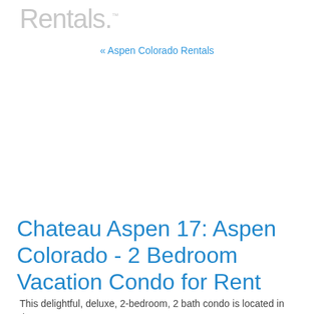Rentals.™
« Aspen Colorado Rentals
Chateau Aspen 17: Aspen Colorado - 2 Bedroom Vacation Condo for Rent
This delightful, deluxe, 2-bedroom, 2 bath condo is located in the